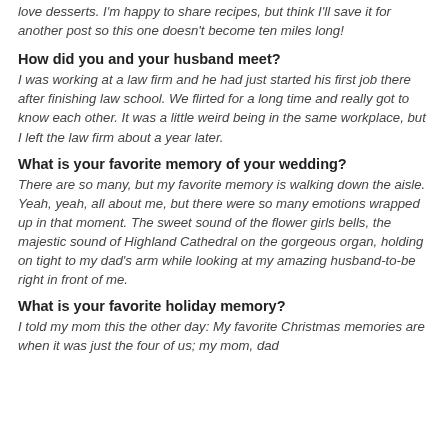love desserts. I'm happy to share recipes, but think I'll save it for another post so this one doesn't become ten miles long!
How did you and your husband meet?
I was working at a law firm and he had just started his first job there after finishing law school. We flirted for a long time and really got to know each other. It was a little weird being in the same workplace, but I left the law firm about a year later.
What is your favorite memory of your wedding?
There are so many, but my favorite memory is walking down the aisle. Yeah, yeah, all about me, but there were so many emotions wrapped up in that moment. The sweet sound of the flower girls bells, the majestic sound of Highland Cathedral on the gorgeous organ, holding on tight to my dad's arm while looking at my amazing husband-to-be right in front of me.
What is your favorite holiday memory?
I told my mom this the other day: My favorite Christmas memories are when it was just the four of us; my mom, dad